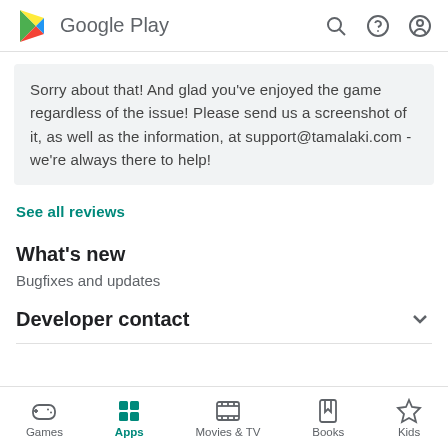Google Play
Sorry about that! And glad you've enjoyed the game regardless of the issue! Please send us a screenshot of it, as well as the information, at support@tamalaki.com - we're always there to help!
See all reviews
What's new
Bugfixes and updates
Developer contact
Games  Apps  Movies & TV  Books  Kids